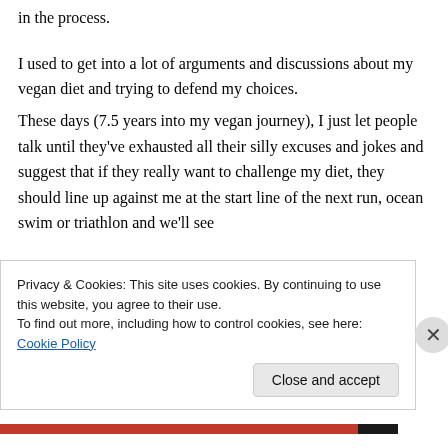in the process.
I used to get into a lot of arguments and discussions about my vegan diet and trying to defend my choices.
These days (7.5 years into my vegan journey), I just let people talk until they've exhausted all their silly excuses and jokes and suggest that if they really want to challenge my diet, they should line up against me at the start line of the next run, ocean swim or triathlon and we'll see
Privacy & Cookies: This site uses cookies. By continuing to use this website, you agree to their use.
To find out more, including how to control cookies, see here: Cookie Policy
Close and accept